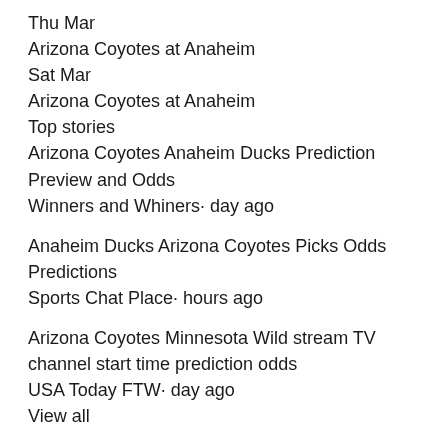Thu Mar
Arizona Coyotes at Anaheim
Sat Mar
Arizona Coyotes at Anaheim
Top stories
Arizona Coyotes Anaheim Ducks Prediction Preview and Odds
Winners and Whiners· day ago
Anaheim Ducks Arizona Coyotes Picks Odds Predictions
Sports Chat Place· hours ago
Arizona Coyotes Minnesota Wild stream TV channel start time prediction odds
USA Today FTW· day ago
View all
Arizona Coyotes Anaheim Ducks Watch ESPN